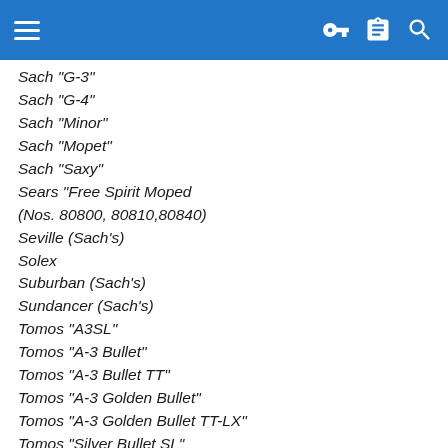[hamburger menu] [key icon] [clipboard icon] [search icon]
Sach "G-3"
Sach "G-4"
Sach "Minor"
Sach "Mopet"
Sach "Saxy"
Sears "Free Spirit Moped (Nos. 80800, 80810,80840)
Seville (Sach's)
Solex
Suburban (Sach's)
Sundancer (Sach's)
Tomos "A3SL"
Tomos "A-3 Bullet"
Tomos "A-3 Bullet TT"
Tomos "A-3 Golden Bullet"
Tomos "A-3 Golden Bullet TT-LX"
Tomos "Silver Bullet SL"
Trac "Blitz"
Trac "Clipper"